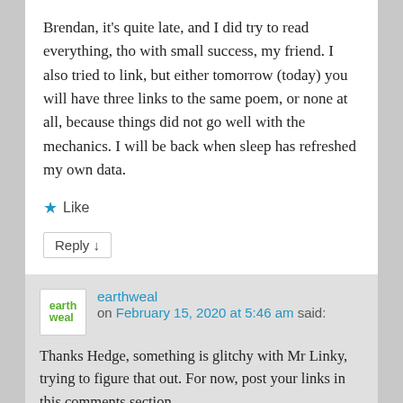Brendan, it's quite late, and I did try to read everything, tho with small success, my friend. I also tried to link, but either tomorrow (today) you will have three links to the same poem, or none at all, because things did not go well with the mechanics. I will be back when sleep has refreshed my own data.
★ Like
Reply ↓
earthweal on February 15, 2020 at 5:46 am said:
Thanks Hedge, something is glitchy with Mr Linky, trying to figure that out. For now, post your links in this comments section.